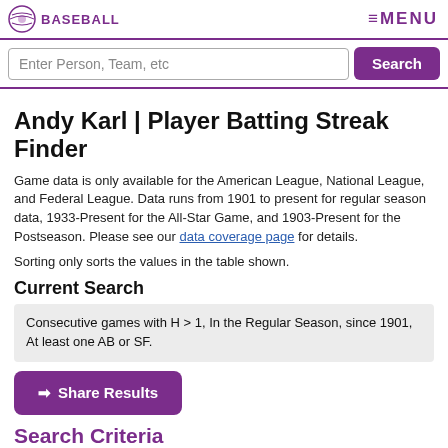BASEBALL | ≡MENU
Enter Person, Team, etc
Andy Karl | Player Batting Streak Finder
Game data is only available for the American League, National League, and Federal League. Data runs from 1901 to present for regular season data, 1933-Present for the All-Star Game, and 1903-Present for the Postseason. Please see our data coverage page for details.
Sorting only sorts the values in the table shown.
Current Search
Consecutive games with H > 1, In the Regular Season, since 1901, At least one AB or SF.
➡ Share Results
Search Criteria